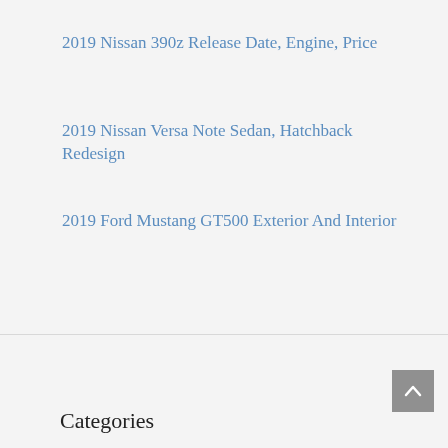2019 Nissan 390z Release Date, Engine, Price
2019 Nissan Versa Note Sedan, Hatchback Redesign
2019 Ford Mustang GT500 Exterior And Interior
Categories